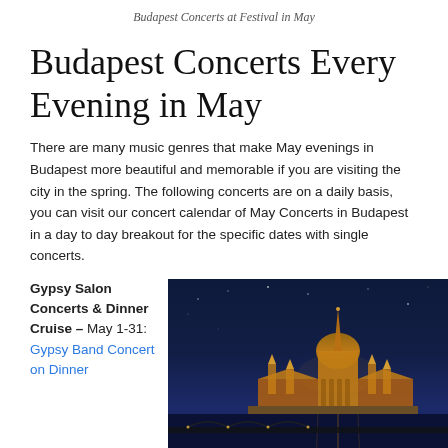Budapest Concerts at Festival in May
Budapest Concerts Every Evening in May
There are many music genres that make May evenings in Budapest more beautiful and memorable if you are visiting the city in the spring. The following concerts are on a daily basis, you can visit our concert calendar of May Concerts in Budapest in a day to day breakout for the specific dates with single concerts.
Gypsy Salon Concerts & Dinner Cruise – May 1-31: Gypsy Band Concert on Dinner
[Figure (photo): Night photograph of Budapest Parliament building lit up in gold against a dark blue night sky, reflected near waterfront]